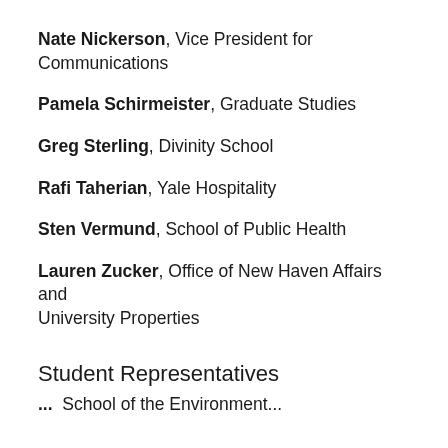Nate Nickerson, Vice President for Communications
Pamela Schirmeister, Graduate Studies
Greg Sterling, Divinity School
Rafi Taherian, Yale Hospitality
Sten Vermund, School of Public Health
Lauren Zucker, Office of New Haven Affairs and University Properties
Student Representatives
... School of the Environment...